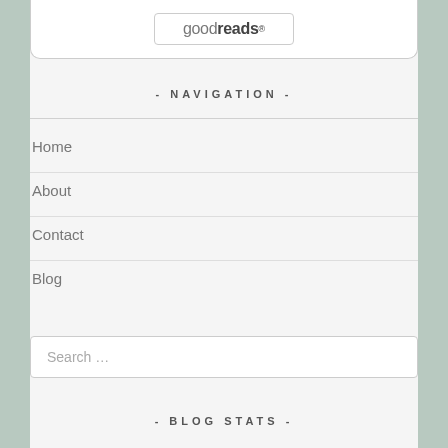[Figure (logo): Goodreads logo button inside a rounded white widget box]
- NAVIGATION -
Home
About
Contact
Blog
Search …
- BLOG STATS -